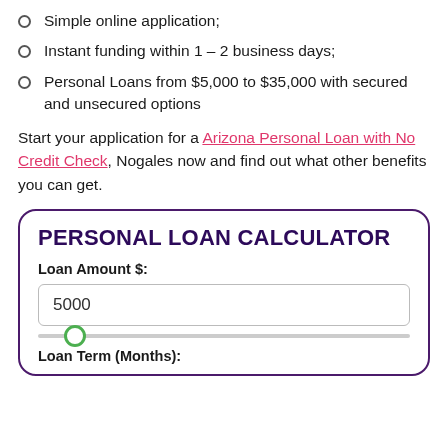Simple online application;
Instant funding within 1 – 2 business days;
Personal Loans from $5,000 to $35,000 with secured and unsecured options
Start your application for a Arizona Personal Loan with No Credit Check, Nogales now and find out what other benefits you can get.
PERSONAL LOAN CALCULATOR
Loan Amount $:
5000
Loan Term (Months):